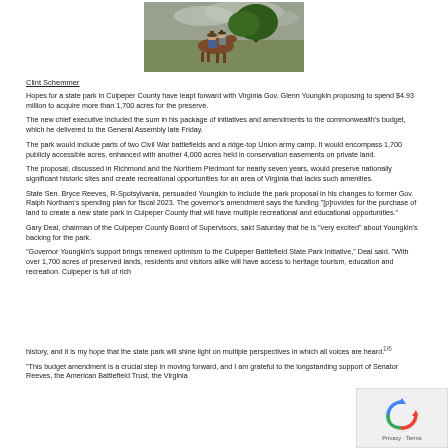[Figure (photo): Two people on horseback under a large tree in an open field with cloudy sky]
Clint Schemmer
Hopes for a state park in Culpeper County have leapt forward with Virginia Gov. Glenn Youngkin proposing to spend $4.93 million to acquire more than 1,700 acres for the preserve.
The new chief executive included the sum in his package of initiatives and amendments to the commonwealth's budget, which he delivered to the General Assembly late Friday.
The park would include parts of two Civil War battlefields and a ridge-top Union army camp. It would encompass 1,700 publicly accessible acres, enhanced with another 4,000 acres held in conservation easements on private land.
The proposal, discussed in Richmond and the Northern Piedmont for nearly seven years, would preserve nationally significant historic sites and create recreational opportunities for an area of Virginia that lacks such amenities.
State Sen. Bryce Reeves, R-Spotsylvania, persuaded Youngkin to include the park proposal in his changes to former Gov. Ralph Northam's spending plan for fiscal 2023. The governor's amendment says the funding "[p]rovides for the purchase of land to create a new state park in Culpeper County that will have multiple recreational and educational opportunities."
Gary Deal, chairman of the Culpeper County Board of Supervisors, said Saturday that he is "very excited" about Youngkin's backing for the park.
"Governor Youngkin's support brings renewed optimism to the Culpeper Battlefield State Park Initiative," Deal said. "With over 1,700 acres of preserved lands, residents and visitors alike will have access to heritage tourism, education and recreation. Culpeper is full of rich
1/6
history, and it is my hope that the state park will shine light on multiple perspectives in which all voices are heard.
"This budget amendment is a crucial step in moving forward, and I am grateful to the longstanding support of Senator Reeves, the American Battlefield Trust, the Virginia